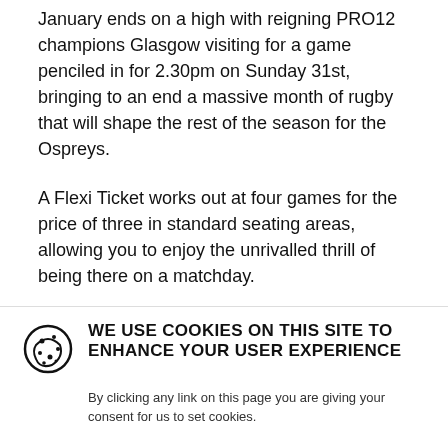January ends on a high with reigning PRO12 champions Glasgow visiting for a game penciled in for 2.30pm on Sunday 31st, bringing to an end a massive month of rugby that will shape the rest of the season for the Ospreys.
A Flexi Ticket works out at four games for the price of three in standard seating areas, allowing you to enjoy the unrivalled thrill of being there on a matchday.
It doesn't have to be the big January games – Flexi Ticket holders can choose what fixtures you use it for, so could come to watch any of those four…
WE USE COOKIES ON THIS SITE TO ENHANCE YOUR USER EXPERIENCE
By clicking any link on this page you are giving your consent for us to set cookies.